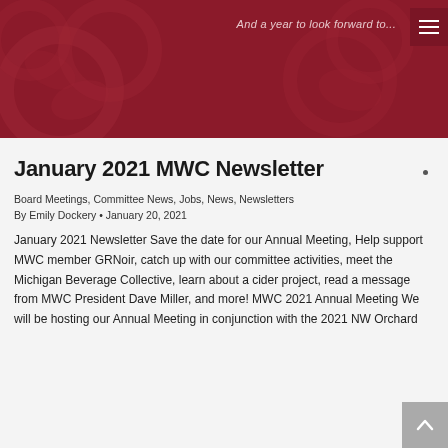[Figure (illustration): Dark red/crimson banner header with floral decorative pattern, tagline text 'And a year to look forward to...' in italic, and hamburger menu icon in top right corner]
January 2021 MWC Newsletter
Board Meetings, Committee News, Jobs, News, Newsletters
By Emily Dockery • January 20, 2021
January 2021 Newsletter Save the date for our Annual Meeting, Help support MWC member GRNoir, catch up with our committee activities, meet the Michigan Beverage Collective, learn about a cider project, read a message from MWC President Dave Miller, and more! MWC 2021 Annual Meeting We will be hosting our Annual Meeting in conjunction with the 2021 NW Orchard